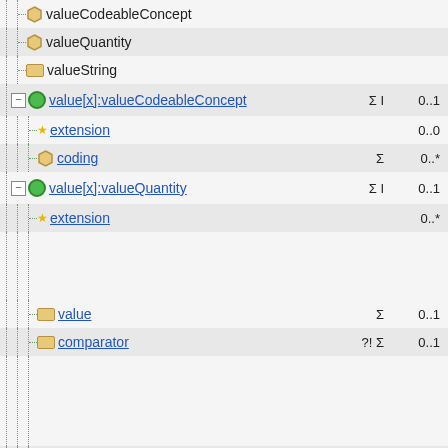valueCodeableConcept
valueQuantity
valueString
value[x]:valueCodeableConcept   Σ I   0..1
extension   0..0
coding   Σ   0..*
value[x]:valueQuantity   Σ I   0..1
extension   0..*
value   Σ   0..1
comparator   ?! Σ   0..1
unit   Σ   0..1
system   Σ I   0..1